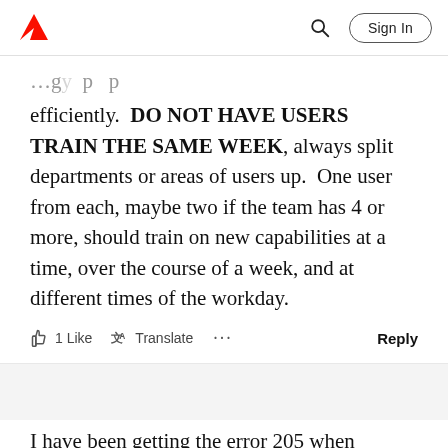Adobe — Sign In
efficiently.  DO NOT HAVE USERS TRAIN THE SAME WEEK, always split departments or areas of users up.  One user from each, maybe two if the team has 4 or more, should train on new capabilities at a time, over the course of a week, and at different times of the workday.
1 Like   Translate   ...   Reply
Michael24698600hcov
New Here
Jun 01, 2022
I have been getting the error 205 when